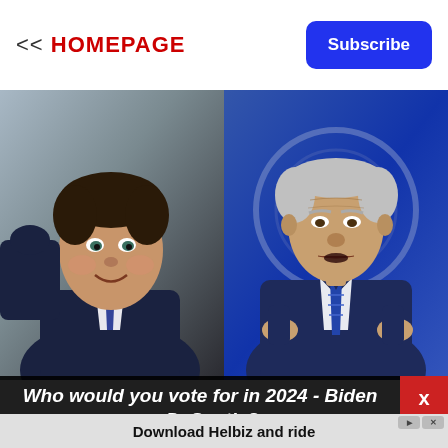<< HOMEPAGE
Subscribe
[Figure (photo): Split photo: on the left, a man in a dark blue suit gesturing and smiling (Ron DeSantis); on the right, an elderly man in a blue pinstripe suit with a blue tie, hands raised, speaking (Joe Biden), with a blurred blue circular background behind him.]
Who would you vote for in 2024 - Biden or DeSantis?
Download Helbiz and ride